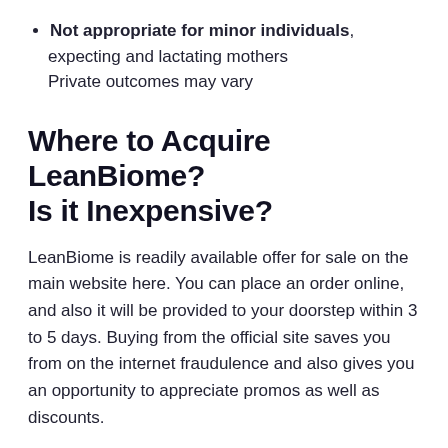Not appropriate for minor individuals, expecting and lactating mothers Private outcomes may vary
Where to Acquire LeanBiome? Is it Inexpensive?
LeanBiome is readily available offer for sale on the main website here. You can place an order online, and also it will be provided to your doorstep within 3 to 5 days. Buying from the official site saves you from on the internet fraudulence and also gives you an opportunity to appreciate promos as well as discounts.